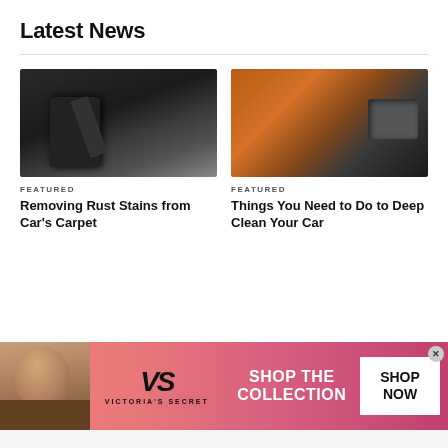Latest News
[Figure (photo): Person in dark workwear using a vacuum cleaner on a car carpet]
[Figure (photo): Orange-gloved hand cleaning a car interior air vent with a tool]
FEATURED
FEATURED
Removing Rust Stains from Car's Carpet
Things You Need to Do to Deep Clean Your Car
[Figure (photo): Close-up of car body panel with scratch or dent detail]
[Figure (photo): Car being washed with blue water and foam]
[Figure (other): Victoria's Secret advertisement banner: SHOP THE COLLECTION with SHOP NOW button and model photo]